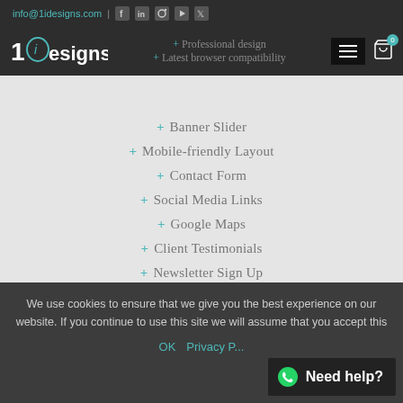info@1idesigns.com
+ Professional design
+ Latest browser compatibility
+ Banner Slider
+ Mobile-friendly Layout
+ Contact Form
+ Social Media Links
+ Google Maps
+ Client Testimonials
+ Newsletter Sign Up
+ Client Login
+ YouTube Video Tutorials
We use cookies to ensure that we give you the best experience on our website. If you continue to use this site we will assume that you accept this
Need help?